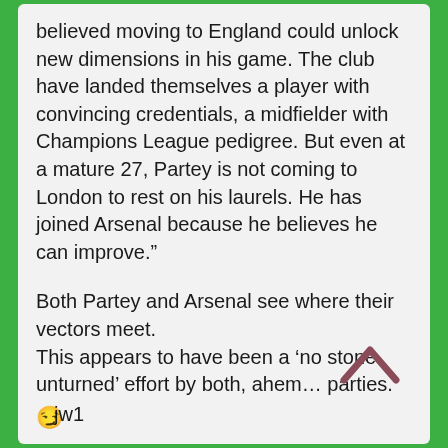believed moving to England could unlock new dimensions in his game. The club have landed themselves a player with convincing credentials, a midfielder with Champions League pedigree. But even at a mature 27, Partey is not coming to London to rest on his laurels. He has joined Arsenal because he believes he can improve.”
Both Partey and Arsenal see where their vectors meet.
This appears to have been a ‘no stone unturned’ effort by both, ahem… parties.
😏
jw1